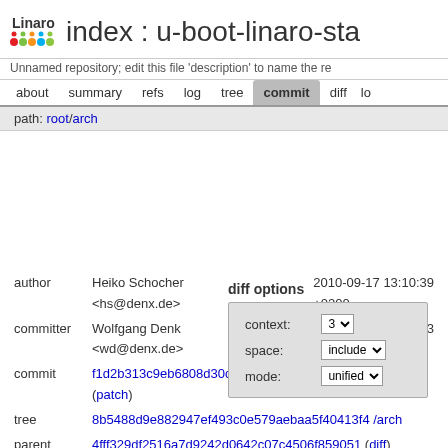index : u-boot-linaro-sta
Unnamed repository; edit this file 'description' to name the re
about  summary  refs  log  tree  commit  diff
path: root/arch
diff options
| context: | 3 |
| space: | include |
| mode: | unified |
author  Heiko Schocher <hs@denx.de>  2010-09-17 13:10:39 +0200
committer  Wolfgang Denk <wd@denx.de>  2010-09-19 19:29:53 +0200
commit  f1d2b313c9eb6808d30c16a9eb5251240452a56c (patch)
tree  8b5488d9e882947ef493c0e579aebaa5f40413f4 /arch
parent  4fff329df2516a7d9242d0642c07c4506f859051 (diff)
download  u-boot-linaro-stable-f1d2b313c0eb6808d30c16a9eb5251240452a56c.tar